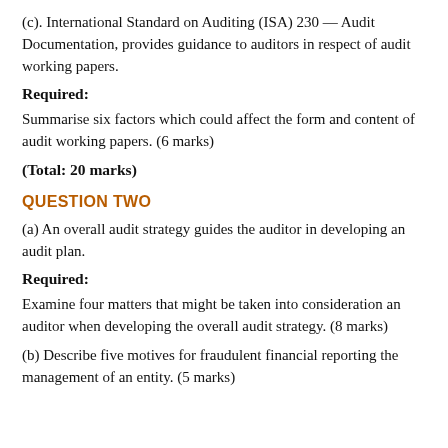(c). International Standard on Auditing (ISA) 230 — Audit Documentation, provides guidance to auditors in respect of audit working papers.
Required:
Summarise six factors which could affect the form and content of audit working papers. (6 marks)
(Total: 20 marks)
QUESTION TWO
(a) An overall audit strategy guides the auditor in developing an audit plan.
Required:
Examine four matters that might be taken into consideration an auditor when developing the overall audit strategy. (8 marks)
(b) Describe five motives for fraudulent financial reporting the management of an entity. (5 marks)